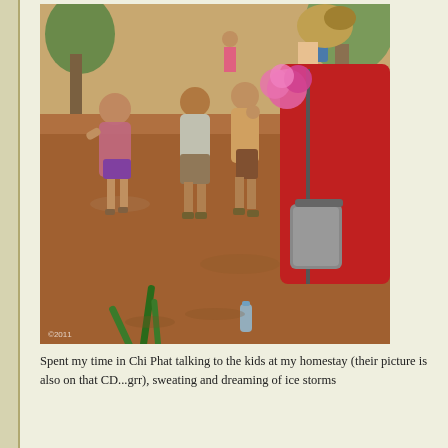[Figure (photo): A woman in a red shirt with a grey bag over her shoulder, holding pink flowers, photographed from behind, interacting with local children in an outdoor dirt courtyard setting in Chi Phat. Several children are visible, along with green plants in the foreground and trees in the background.]
Spent my time in Chi Phat talking to the kids at my homestay (their picture is also on that CD...grr), sweating and dreaming of ice storms